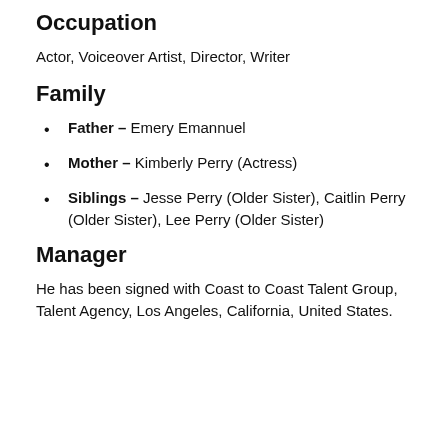Occupation
Actor, Voiceover Artist, Director, Writer
Family
Father – Emery Emannuel
Mother – Kimberly Perry (Actress)
Siblings – Jesse Perry (Older Sister), Caitlin Perry (Older Sister), Lee Perry (Older Sister)
Manager
He has been signed with Coast to Coast Talent Group, Talent Agency, Los Angeles, California, United States.